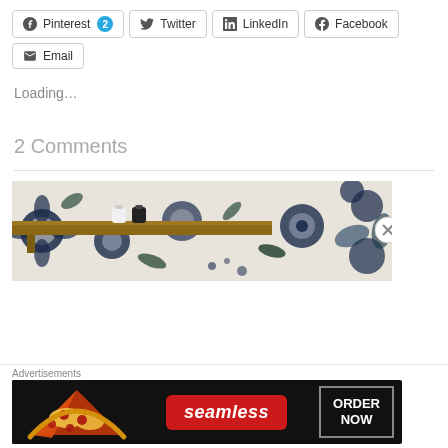Pinterest 2  Twitter  LinkedIn  Facebook  Email
Loading...
2 Comments
[Figure (photo): Interior photo showing a wooden shelf with salt and pepper shakers against a blue-and-white floral wallpaper pattern]
Advertisements
[Figure (photo): Seamless food delivery advertisement banner with pizza image on left, seamless logo in red in center, and ORDER NOW button on right, all on dark background]